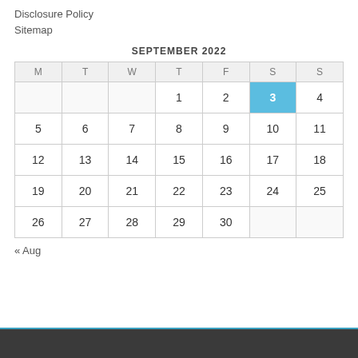Disclosure Policy
Sitemap
| M | T | W | T | F | S | S |
| --- | --- | --- | --- | --- | --- | --- |
|  |  |  | 1 | 2 | 3 | 4 |
| 5 | 6 | 7 | 8 | 9 | 10 | 11 |
| 12 | 13 | 14 | 15 | 16 | 17 | 18 |
| 19 | 20 | 21 | 22 | 23 | 24 | 25 |
| 26 | 27 | 28 | 29 | 30 |  |  |
« Aug